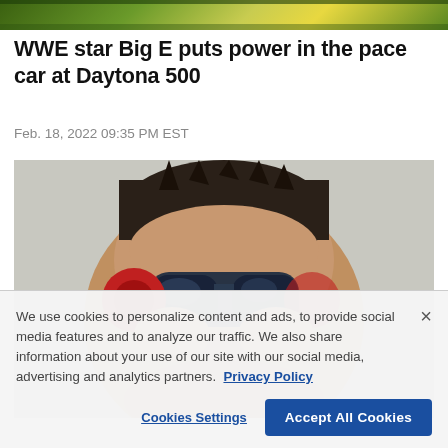[Figure (photo): Top cropped photo showing a racetrack with green and yellow colors visible]
WWE star Big E puts power in the pace car at Daytona 500
Feb. 18, 2022 09:35 PM EST
[Figure (photo): Close-up photo of a man wearing sunglasses and red headphones/ear protection, looking upward, outdoors in bright sunlight]
We use cookies to personalize content and ads, to provide social media features and to analyze our traffic. We also share information about your use of our site with our social media, advertising and analytics partners. Privacy Policy
Cookies Settings
Accept All Cookies